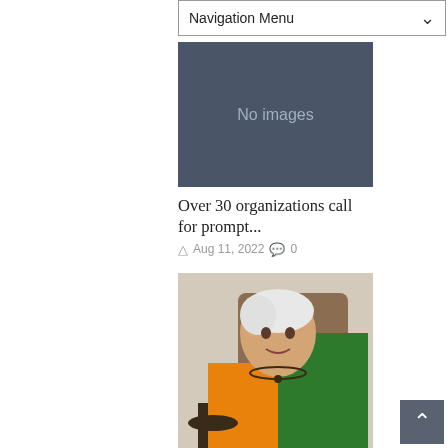Navigation Menu
[Figure (other): Gray placeholder box showing 'No images']
Over 30 organizations call for prompt...
Aug 11, 2022  0
[Figure (photo): Elderly woman with white hair wearing orange and green saree with beaded necklace, seated in a chair]
The years that were: Let lessons from...
Aug 01, 2022  0
[Figure (photo): Partial image of another article, dark background with text visible at bottom]